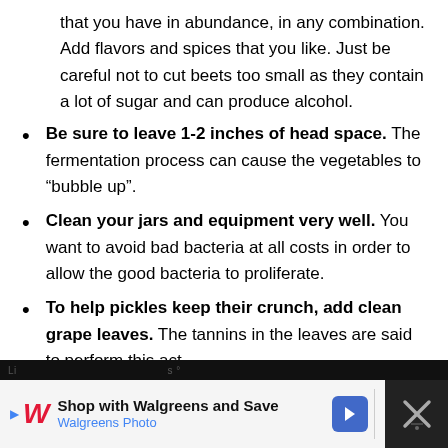that you have in abundance, in any combination. Add flavors and spices that you like. Just be careful not to cut beets too small as they contain a lot of sugar and can produce alcohol.
Be sure to leave 1-2 inches of head space. The fermentation process can cause the vegetables to “bubble up”.
Clean your jars and equipment very well. You want to avoid bad bacteria at all costs in order to allow the good bacteria to proliferate.
To help pickles keep their crunch, add clean grape leaves. The tannins in the leaves are said to perform this act.
Recipes
[Figure (screenshot): Walgreens advertisement banner: 'Shop with Walgreens and Save / Walgreens Photo' with logo, navigation arrow icon, and close button]